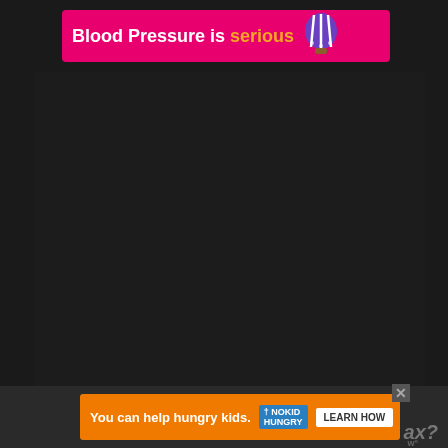[Figure (infographic): Pink banner advertisement reading 'Blood Pressure is serious' with a hot air balloon icon on a dark background page]
[Figure (infographic): Orange advertisement banner at bottom: 'You can help hungry kids.' with No Kid Hungry logo and 'LEARN HOW' button]